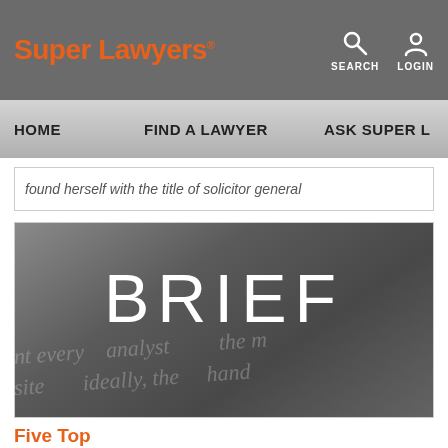Super Lawyers®
SEARCH LOGIN
HOME  FIND A LAWYER  ASK SUPER L…
found herself with the title of solicitor general
[Figure (screenshot): Dark grey background image with the word BRIEF in large white letters, with blurred legal text visible in lower portion of the image.]
Five Top...